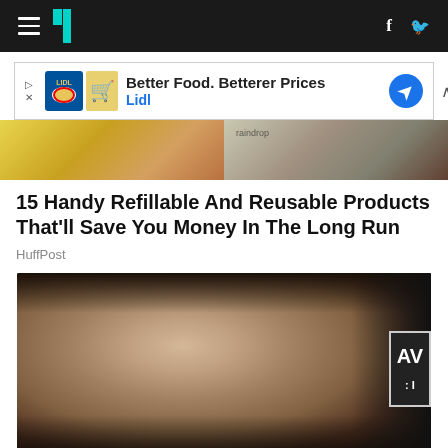HuffPost navigation bar with hamburger menu, logo, Facebook and Twitter icons
[Figure (screenshot): Advertisement banner: Better Food. Betterer Prices - Lidl]
[Figure (photo): Two cropped article thumbnail images showing lifestyle products]
15 Handy Refillable And Reusable Products That'll Save You Money In The Long Run
HuffPost
[Figure (photo): Photo of a bearded man at an event with a badge/logo partially visible on the right reading 'AV']
This Is Why Ex-Disney Stars Are Keeping Quiet